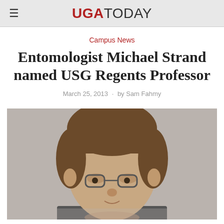UGA TODAY
Campus News
Entomologist Michael Strand named USG Regents Professor
March 25, 2013 · by Sam Fahmy
[Figure (photo): Head and shoulders portrait photo of Michael Strand, a man with brown hair, looking slightly downward, light gray background, partial view cropped at bottom]